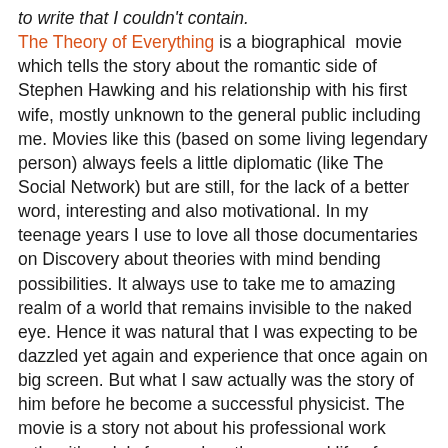to write that I couldn't contain. The Theory of Everything is a biographical movie which tells the story about the romantic side of Stephen Hawking and his relationship with his first wife, mostly unknown to the general public including me. Movies like this (based on some living legendary person) always feels a little diplomatic (like The Social Network) but are still, for the lack of a better word, interesting and also motivational. In my teenage years I use to love all those documentaries on Discovery about theories with mind bending possibilities. It always use to take me to amazing realm of a world that remains invisible to the naked eye. Hence it was natural that I was expecting to be dazzled yet again and experience that once again on big screen. But what I saw actually was the story of him before he become a successful physicist. The movie is a story not about his professional work rather it's solely focused on the personal life of Stephen Hawking. We got to know about how incredibly nice Jane (his first wife) was with Stephen. She